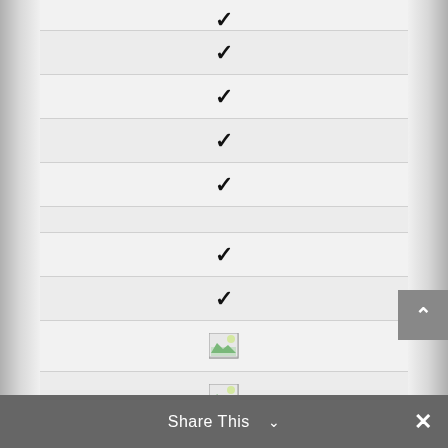| ✓ |
| ✓ |
| ✓ |
| ✓ |
| ✓ |
|  |
| ✓ |
| ✓ |
| [image] |
| [image] |
Share This ∨  ×